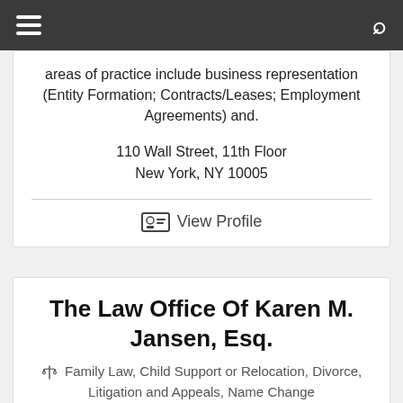Navigation bar with menu and search icons
areas of practice include business representation (Entity Formation; Contracts/Leases; Employment Agreements) and.
110 Wall Street, 11th Floor
New York, NY 10005
View Profile
The Law Office Of Karen M. Jansen, Esq.
Family Law, Child Support or Relocation, Divorce, Litigation and Appeals, Name Change
Boutique Family Law firm, 16 years experience. Divorce, Alimony, Child Support, Custody, Visitation, Financial & Property Division, Domestic...